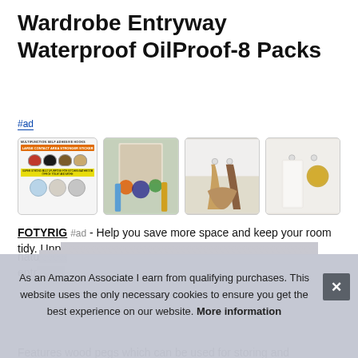Wardrobe Entryway Waterproof OilProof-8 Packs
#ad
[Figure (photo): Four product images of self-adhesive hooks showing: 1) product info card with hats and orange bar text, 2) hooks on wall/wardrobe with colorful items hanging, 3) hooks on white wall with coat/bag hanging, 4) hooks on white wall with towel and sponge hanging]
FOTYRIG #ad - Help you save more space and keep your room tidy. Unp... natu... entr...
As an Amazon Associate I earn from qualifying purchases. This website uses the only necessary cookies to ensure you get the best experience on our website. More information
Features wood pegs which can be used for storing and